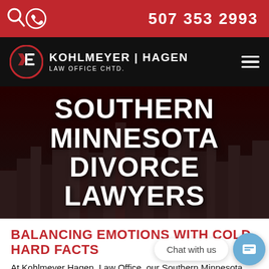507 353 2993
[Figure (logo): Kohlmeyer Hagen Law Office Chtd. logo with circular emblem on dark background]
SOUTHERN MINNESOTA DIVORCE LAWYERS
BALANCING EMOTIONS WITH COLD HARD FACTS
At Kohlmeyer Hagen, Law Office, our Southern Minnesota divorce attorneys are...